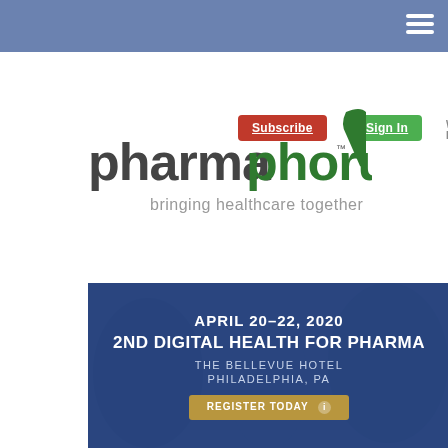[Figure (logo): pharmaphorum logo with tagline 'bringing healthcare together' and green triangle icon]
[Figure (infographic): Event banner with blue overlay showing people in background. Text: APRIL 20-22, 2020 / 2ND DIGITAL HEALTH FOR PHARMA / THE BELLEVUE HOTEL / PHILADELPHIA, PA / REGISTER TODAY button]